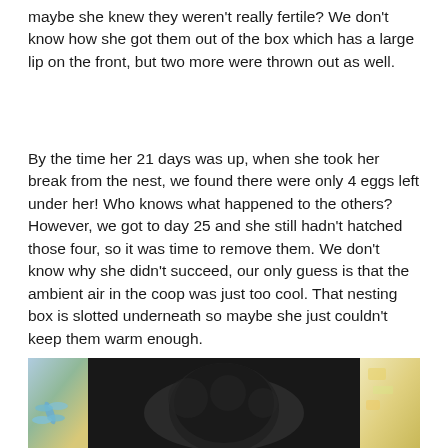maybe she knew they weren't really fertile? We don't know how she got them out of the box which has a large lip on the front, but two more were thrown out as well.
By the time her 21 days was up, when she took her break from the nest, we found there were only 4 eggs left under her! Who knows what happened to the others? However, we got to day 25 and she still hadn't hatched those four, so it was time to remove them. We don't know why she didn't succeed, our only guess is that the ambient air in the coop was just too cool. That nesting box is slotted underneath so maybe she just couldn't keep them warm enough.
[Figure (photo): A photograph showing what appears to be a dark-feathered chicken or hen in a nesting box, with colorful fabric/material visible on the left and right sides of the image.]